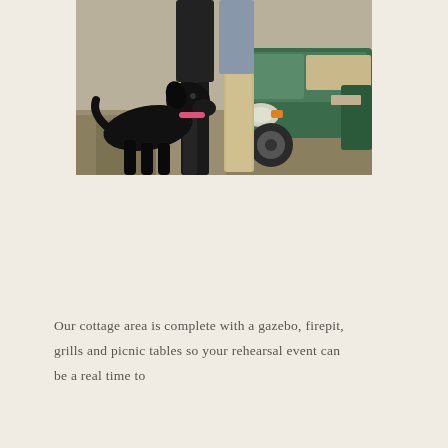[Figure (photo): Outdoor photo showing a black Labrador dog with a pink collar looking up at two people (only their lower bodies visible), standing next to a green golf cart on dry grassy ground.]
Our cottage area is complete with a gazebo, firepit, grills and picnic tables so your rehearsal event can be a real time to